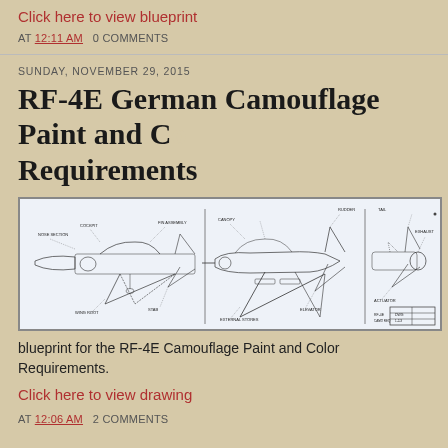Click here to view blueprint
AT 12:11 AM   0 COMMENTS
SUNDAY, NOVEMBER 29, 2015
RF-4E German Camouflage Paint and Color Requirements
[Figure (engineering-diagram): Blueprint/technical drawing of the RF-4E aircraft showing camouflage paint and color requirements schematic, multiple views of the aircraft with annotations]
blueprint for the RF-4E Camouflage Paint and Color Requirements.
Click here to view drawing
AT 12:06 AM   2 COMMENTS